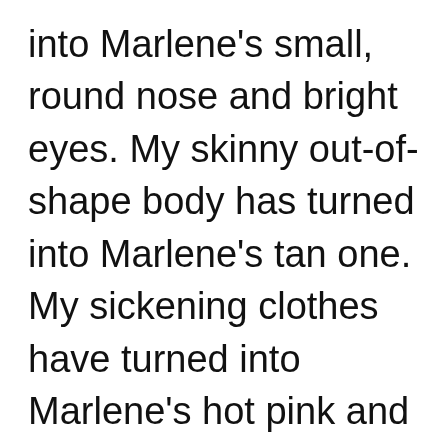into Marlene's small, round nose and bright eyes. My skinny out-of-shape body has turned into Marlene's tan one. My sickening clothes have turned into Marlene's hot pink and in-style ones. I have